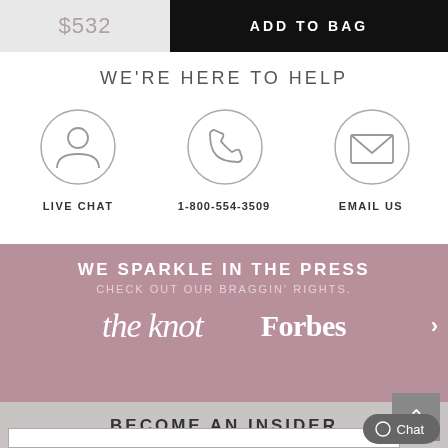$532
ADD TO BAG
WE'RE HERE TO HELP
[Figure (illustration): Live chat icon - person silhouette in circle]
LIVE CHAT
[Figure (illustration): Phone icon in circle]
1-800-554-3509
[Figure (illustration): Email envelope icon in circle]
EMAIL US
WE SPARKLE IN THE PRESS
CHECK OUT OUR BRAGGIN' RIGHTS.
[Figure (logo): the knot logo in script font]
[Figure (logo): Forbes logo in bold serif font]
BECOME AN INSIDER